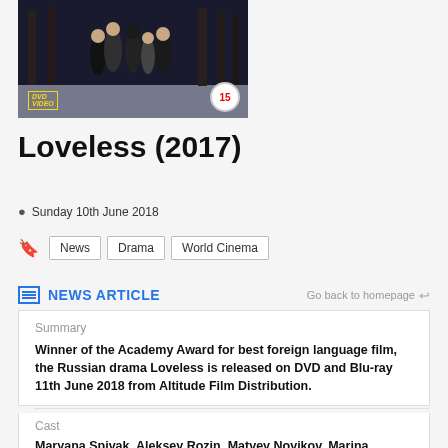[Figure (photo): DVD cover of Loveless (2017) showing people in winter, with DVD logo bottom-left and a red '15' rating badge bottom-right]
Loveless (2017)
Sunday 10th June 2018
News
Drama
World Cinema
NEWS ARTICLE
Go back to homepage
Summary
Winner of the Academy Award for best foreign language film, the Russian drama Loveless is released on DVD and Blu-ray 11th June 2018 from Altitude Film Distribution.
Cast
Maryana Spivak, Aleksey Rozin, Matvey Novikov, Marina